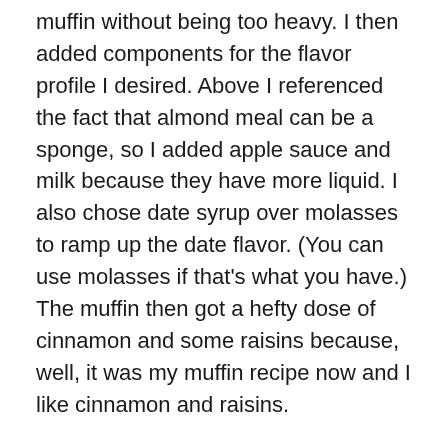muffin without being too heavy. I then added components for the flavor profile I desired. Above I referenced the fact that almond meal can be a sponge, so I added apple sauce and milk because they have more liquid. I also chose date syrup over molasses to ramp up the date flavor. (You can use molasses if that's what you have.) The muffin then got a hefty dose of cinnamon and some raisins because, well, it was my muffin recipe now and I like cinnamon and raisins.
Almond Meal Date Muffins inspired by Vegan Molasses Bran Muffins
1 cup almond meal
1 cup all purpose flour
1/2 cup whole wheat flour